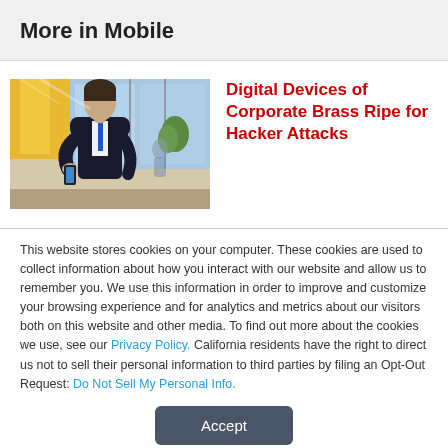More in Mobile
Digital Devices of Corporate Brass Ripe for Hacker Attacks
[Figure (photo): A man in a dark suit looking at his phone in a bright indoor/airport-like setting]
This website stores cookies on your computer. These cookies are used to collect information about how you interact with our website and allow us to remember you. We use this information in order to improve and customize your browsing experience and for analytics and metrics about our visitors both on this website and other media. To find out more about the cookies we use, see our Privacy Policy. California residents have the right to direct us not to sell their personal information to third parties by filing an Opt-Out Request: Do Not Sell My Personal Info.